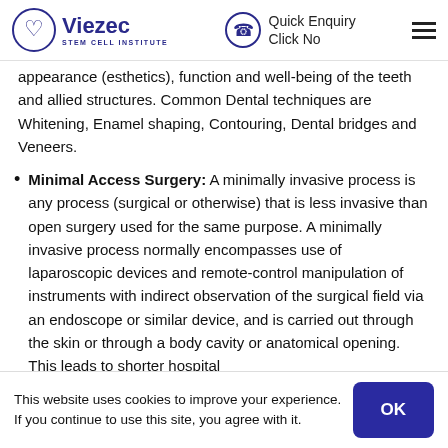Viezec STEM CELL INSTITUTE | Quick Enquiry Click No
appearance (esthetics), function and well-being of the teeth and allied structures. Common Dental techniques are Whitening, Enamel shaping, Contouring, Dental bridges and Veneers.
Minimal Access Surgery: A minimally invasive process is any process (surgical or otherwise) that is less invasive than open surgery used for the same purpose. A minimally invasive process normally encompasses use of laparoscopic devices and remote-control manipulation of instruments with indirect observation of the surgical field via an endoscope or similar device, and is carried out through the skin or through a body cavity or anatomical opening. This leads to shorter hospital
This website uses cookies to improve your experience. If you continue to use this site, you agree with it.